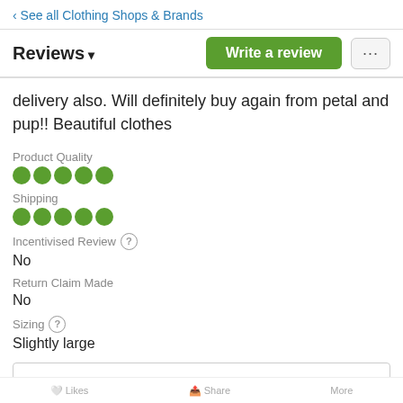‹ See all Clothing Shops & Brands
Reviews
delivery also. Will definitely buy again from petal and pup!! Beautiful clothes
Product Quality
●●●●●
Shipping
●●●●●
Incentivised Review (?)
No
Return Claim Made
No
Sizing (?)
Slightly large